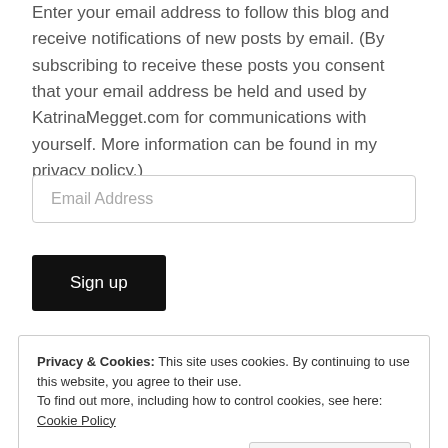Enter your email address to follow this blog and receive notifications of new posts by email. (By subscribing to receive these posts you consent that your email address be held and used by KatrinaMegget.com for communications with yourself. More information can be found in my privacy policy.)
Email Address
Sign up
Privacy & Cookies: This site uses cookies. By continuing to use this website, you agree to their use.
To find out more, including how to control cookies, see here: Cookie Policy
Close and accept